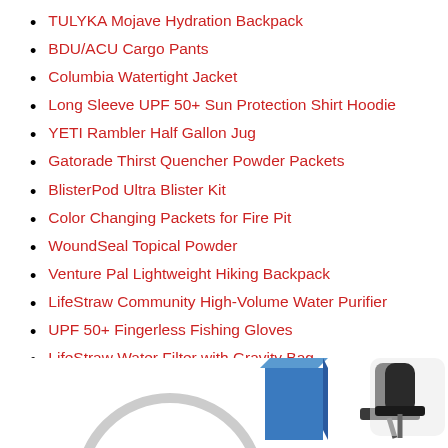TULYKA Mojave Hydration Backpack
BDU/ACU Cargo Pants
Columbia Watertight Jacket
Long Sleeve UPF 50+ Sun Protection Shirt Hoodie
YETI Rambler Half Gallon Jug
Gatorade Thirst Quencher Powder Packets
BlisterPod Ultra Blister Kit
Color Changing Packets for Fire Pit
WoundSeal Topical Powder
Venture Pal Lightweight Hiking Backpack
LifeStraw Community High-Volume Water Purifier
UPF 50+ Fingerless Fishing Gloves
LifeStraw Water Filter with Gravity Bag
UPF 50+ Performance Sun Bandana
Beach Canopy Tent Sun Shade
[Figure (illustration): Partial illustration at bottom of page showing a magnifying glass circle outline, a blue book/box shape, and what appears to be a roller handle on the right side.]